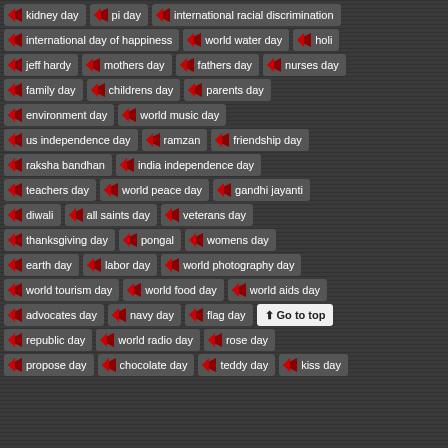kidney day
pi day
international racial discrimination
international day of happiness
world water day
holi
jeff hardy
mothers day
fathers day
nurses day
family day
childrens day
parents day
environment day
world music day
us independence day
ramzan
friendship day
raksha bandhan
india independence day
teachers day
world peace day
gandhi jayanti
diwali
all saints day
veterans day
thanksgiving day
pongal
womens day
earth day
labor day
world photography day
world tourism day
world food day
world aids day
advocates day
navy day
flag day
republic day
world radio day
rose day
propose day
chocolate day
teddy day
kiss day